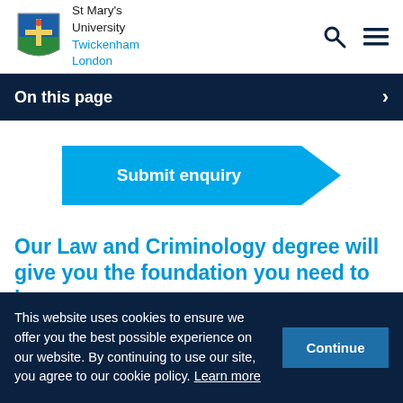[Figure (logo): St Mary's University crest/coat of arms logo with university name: St Mary's University, Twickenham London in blue text]
St Mary's University Twickenham London
On this page
Submit enquiry
Our Law and Criminology degree will give you the foundation you need to be successful in your chosen profession.
This website uses cookies to ensure we offer you the best possible experience on our website. By continuing to use our site, you agree to our cookie policy. Learn more